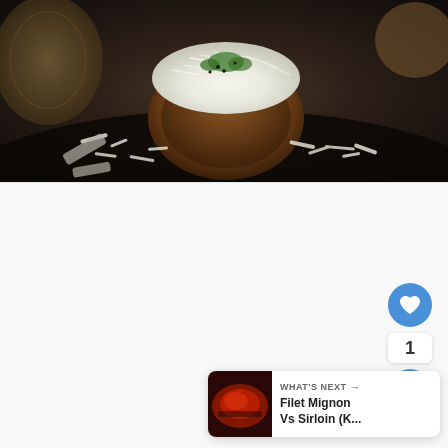[Figure (photo): Close-up photograph of a stuffed portobello mushroom bowl filled with shredded white cheese and herbs, placed on a dark surface with scattered shredded cheese around it. Wooden bowl visible in background left.]
[Figure (infographic): Social media interaction buttons: blue heart/like button with count of 1, and a blue share button. Below is a 'What's Next' card showing a thumbnail of meat dish and text 'Filet Mignon Vs Sirloin (K...']